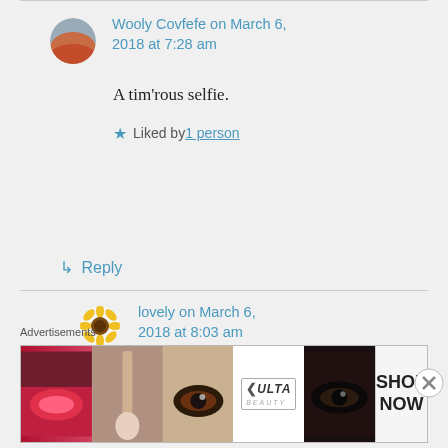Wooly Covfefe on March 6, 2018 at 7:28 am
A tim'rous selfie.
Liked by 1 person
↳ Reply
lovely on March 6, 2018 at 8:03 am
Ryan should be nervous I saw him
Advertisements
[Figure (photo): ULTA beauty advertisement banner with makeup/beauty images and SHOP NOW button]